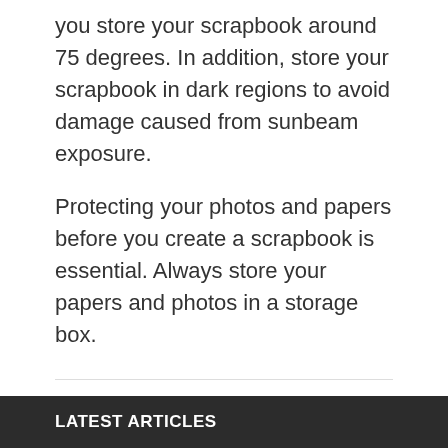you store your scrapbook around 75 degrees. In addition, store your scrapbook in dark regions to avoid damage caused from sunbeam exposure.
Protecting your photos and papers before you create a scrapbook is essential. Always store your papers and photos in a storage box.
« How to rebuild your life, learn divorce laws
How to Sample your Squares in Craft »
Search ...
LATEST ARTICLES